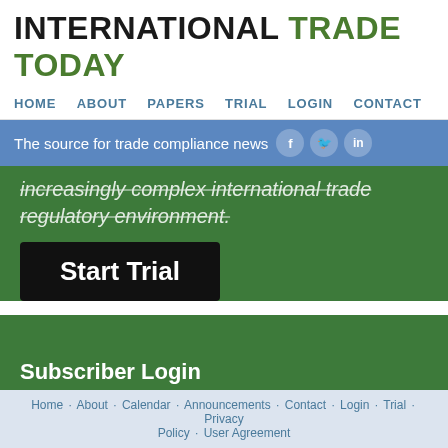INTERNATIONAL TRADE TODAY
HOME   ABOUT   PAPERS   TRIAL   LOGIN   CONTACT
The source for trade compliance news
increasingly complex international trade regulatory environment.
Start Trial
Subscriber Login
email
Home · About · Calendar · Announcements · Contact · Login · Trial · Privacy Policy · User Agreement